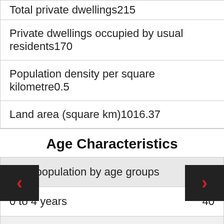| Total private dwellings | 215 |
| Private dwellings occupied by usual residents | 170 |
| Population density per square kilometre | 0.5 |
| Land area (square km) | 1016.37 |
Age Characteristics
| Total population by age groups | 510 |
| --- | --- |
| 0 to 4 years | 40 |
| 5 to 9 years | 40 |
| 10 to 14 years | 55 |
| 15 to 19 years | 25 |